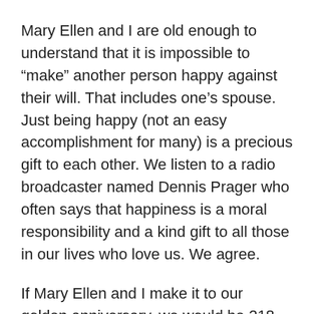Mary Ellen and I are old enough to understand that it is impossible to “make” another person happy against their will. That includes one’s spouse. Just being happy (not an easy accomplishment for many) is a precious gift to each other. We listen to a radio broadcaster named Dennis Prager who often says that happiness is a moral responsibility and a kind gift to all those in our lives who love us. We agree.
If Mary Ellen and I make it to our golden anniversary, we would be 218-years-old as a couple! That’s unlikely, so we plan to make the most of our time together. Life is too short to fuss over small stuff, like toothpaste, toilet seats, ego, pretense, and the TV remote control handset. Nevertheless, learning how